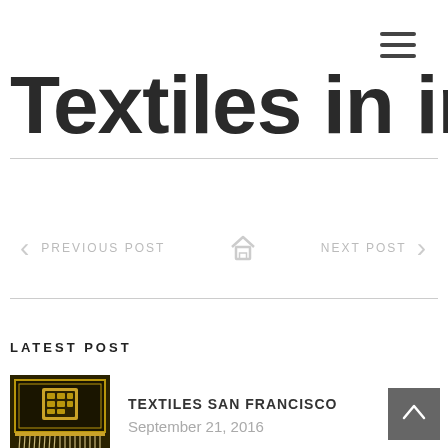[Figure (other): Hamburger menu icon (three horizontal lines) in top-right corner]
Textiles in inte
PREVIOUS POST   [home icon]   NEXT POST
LATEST POST
[Figure (photo): Thumbnail image of a decorative textile/tapestry with gold fringe, appears to be a banner or wall hanging with dark background and ornate design]
TEXTILES SAN FRANCISCO
September 21, 2016
[Figure (other): Back-to-top button: dark grey square with upward-pointing chevron arrow in white]